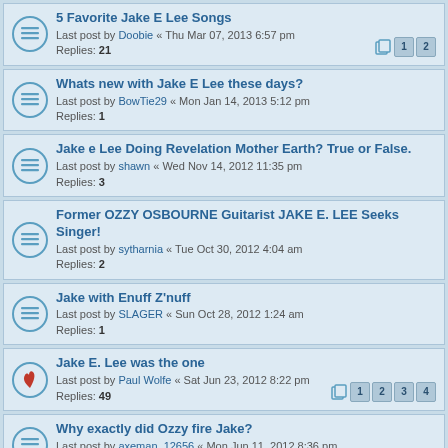5 Favorite Jake E Lee Songs
Last post by Doobie « Thu Mar 07, 2013 6:57 pm
Replies: 21
Whats new with Jake E Lee these days?
Last post by BowTie29 « Mon Jan 14, 2013 5:12 pm
Replies: 1
Jake e Lee Doing Revelation Mother Earth? True or False.
Last post by shawn « Wed Nov 14, 2012 11:35 pm
Replies: 3
Former OZZY OSBOURNE Guitarist JAKE E. LEE Seeks Singer!
Last post by sytharnia « Tue Oct 30, 2012 4:04 am
Replies: 2
Jake with Enuff Z'nuff
Last post by SLAGER « Sun Oct 28, 2012 1:24 am
Replies: 1
Jake E. Lee was the one
Last post by Paul Wolfe « Sat Jun 23, 2012 8:22 pm
Replies: 49
Why exactly did Ozzy fire Jake?
Last post by axeman_12656 « Mon Jun 11, 2012 8:36 pm
Replies: 18
What could the third album have been like with Jake?
Last post by axeman_12656 « Mon May 07, 2012 12:56 pm
Replies: 6